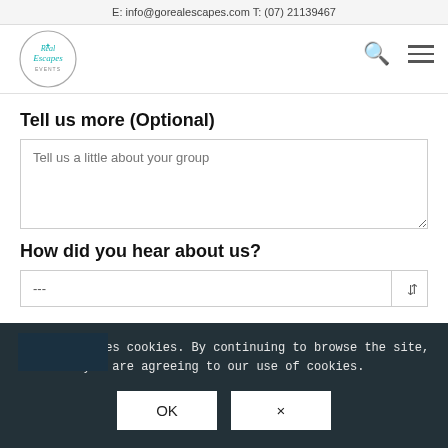E: info@gorealescapes.com T: (07) 21139467
[Figure (logo): Real Escapes Events circular logo with palm tree]
Tell us more (Optional)
Tell us a little about your group
How did you hear about us?
---
This site uses cookies. By continuing to browse the site, you are agreeing to our use of cookies.
OK
×